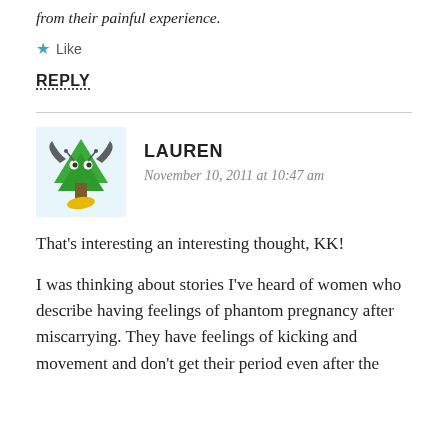from their painful experience.
★ Like
REPLY
LAUREN
November 10, 2011 at 10:47 am
That's interesting an interesting thought, KK!
I was thinking about stories I've heard of women who describe having feelings of phantom pregnancy after miscarrying. They have feelings of kicking and movement and don't get their period even after the